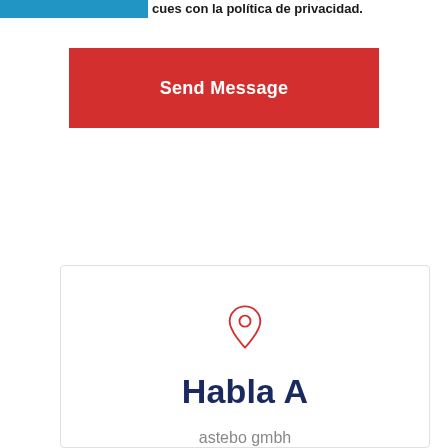…cues con la política de privacidad.
[Figure (other): Red 'Send Message' button]
[Figure (other): Card with red map pin location icon, bold navy title 'Habla A', and gray subtitle 'astebo gmbh']
Habla A
astebo gmbh